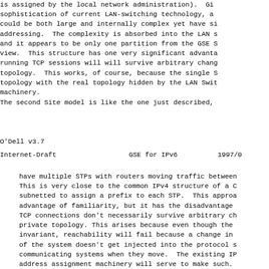is assigned by the local network administration).  Gi
sophistication of current LAN-switching technology, a
could be both large and internally complex yet have si
addressing.  The complexity is absorbed into the LAN s
and it appears to be only one partition from the GSE S
view.  This structure has one very significant advanta
running TCP sessions will will survive arbitrary chang
topology.  This works, of course, because the single S
topology with the real topology hidden by the LAN Swit
machinery.
The second Site model is like the one just described,
O'Dell v3.7
Internet-Draft                GSE for IPv6              1997/0
have multiple STPs with routers moving traffic between
This is very close to the common IPv4 structure of a C
subnetted to assign a prefix to each STP.  This approa
advantage of familiarity, but it has the disadvantage
TCP connections don't necessarily survive arbitrary ch
private topology. This arises because even though the
invariant, reachability will fail because a change in
of the system doesn't get injected into the protocol s
communicating systems when they move.  The existing IP
address assignment machinery will serve to make such.